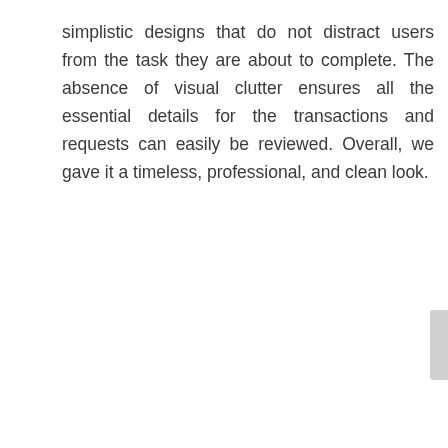simplistic designs that do not distract users from the task they are about to complete. The absence of visual clutter ensures all the essential details for the transactions and requests can easily be reviewed. Overall, we gave it a timeless, professional, and clean look.